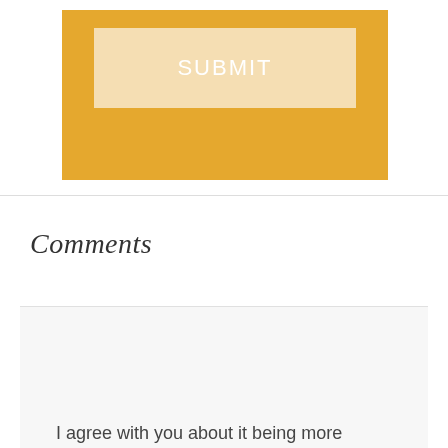[Figure (screenshot): A golden/amber colored submit button area with a lighter beige inner button displaying the word SUBMIT in white capital letters]
Comments
robin says
July 20, 2008 at 7:43 am
I agree with you about it being more readable. I think I'd prefer a single column